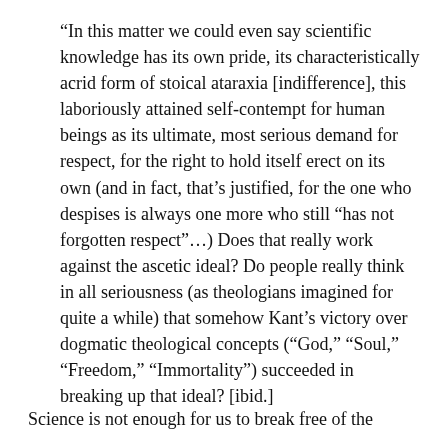“In this matter we could even say scientific knowledge has its own pride, its characteristically acrid form of stoical ataraxia [indifference], this laboriously attained self-contempt for human beings as its ultimate, most serious demand for respect, for the right to hold itself erect on its own (and in fact, that’s justified, for the one who despises is always one more who still “has not forgotten respect”…) Does that really work against the ascetic ideal? Do people really think in all seriousness (as theologians imagined for quite a while) that somehow Kant’s victory over dogmatic theological concepts (“God,” “Soul,” “Freedom,” “Immortality”) succeeded in breaking up that ideal? [ibid.]
Science is not enough for us to break free of the